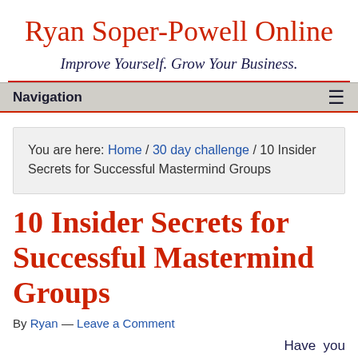Ryan Soper-Powell Online
Improve Yourself. Grow Your Business.
Navigation
You are here: Home / 30 day challenge / 10 Insider Secrets for Successful Mastermind Groups
10 Insider Secrets for Successful Mastermind Groups
By Ryan — Leave a Comment
Have you